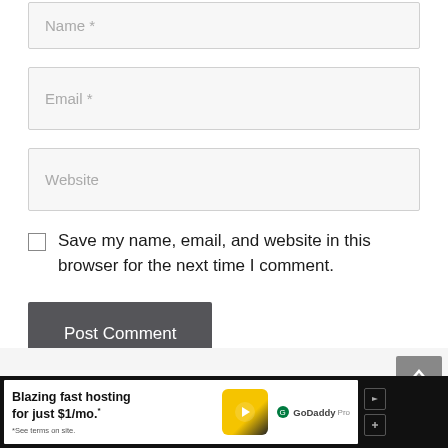[Figure (screenshot): Web form input field with placeholder text 'Name *']
[Figure (screenshot): Web form input field with placeholder text 'Email *']
[Figure (screenshot): Web form input field with placeholder text 'Website']
Save my name, email, and website in this browser for the next time I comment.
[Figure (screenshot): Post Comment button]
[Figure (screenshot): GoDaddy Pro advertisement banner: Blazing fast hosting for just $1/mo. *See terms on site.]